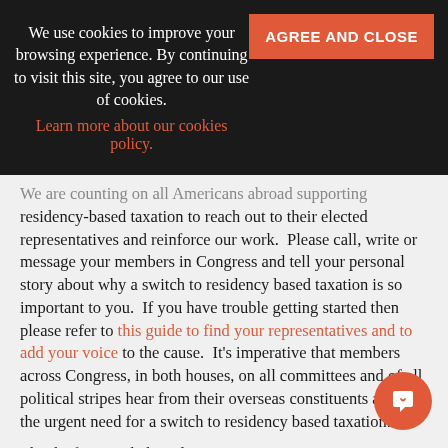We use cookies to improve your browsing experience. By continuing to visit this site, you agree to our use of cookies.
Learn more about our cookies policy.
[AGREE AND CLOSE button]
We are counting on all Americans abroad supporting residency-based taxation to reach out to their elected representatives and reinforce our work.  Please call, write or message your members in Congress and tell your personal story about why a switch to residency based taxation is so important to you.  If you have trouble getting started then please refer to this guide to find your representatives and to add your voice to the cause.  It's imperative that members across Congress, in both houses, on all committees and of all political stripes hear from their overseas constituents about the urgent need for a switch to residency based taxation.

Thanks for your help.  Please contact us on taxationtf@democratsabroad.org with comments or questions.